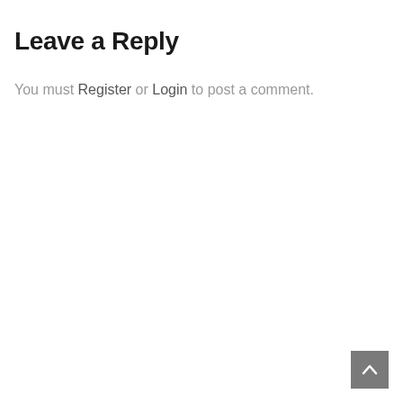Leave a Reply
You must Register or Login to post a comment.
[Figure (other): Scroll-to-top button with upward arrow icon, dark gray square button in bottom-right corner]